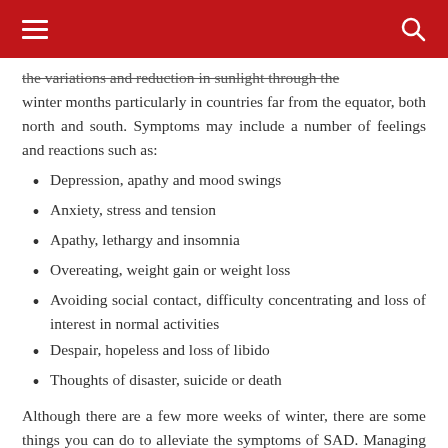≡  [search icon]
the variations and reduction in sunlight through the winter months particularly in countries far from the equator, both north and south. Symptoms may include a number of feelings and reactions such as:
Depression, apathy and mood swings
Anxiety, stress and tension
Apathy, lethargy and insomnia
Overeating, weight gain or weight loss
Avoiding social contact, difficulty concentrating and loss of interest in normal activities
Despair, hopeless and loss of libido
Thoughts of disaster, suicide or death
Although there are a few more weeks of winter, there are some things you can do to alleviate the symptoms of SAD. Managing the symptoms of SAD will help you get a head start and jump into spring. Here are 7 ways in which you can fight SAD.
1. Do phototherapy with light boxes and dawn simulators – A researcher at Harvard Medical School